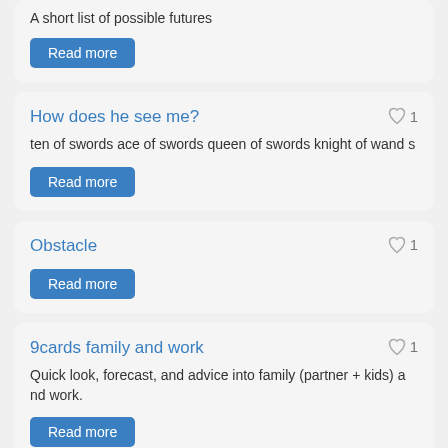A short list of possible futures
Read more
How does he see me?
ten of swords ace of swords queen of swords knight of wands
Read more
Obstacle
Read more
9cards family and work
Quick look, forecast, and advice into family (partner + kids) and work.
Read more